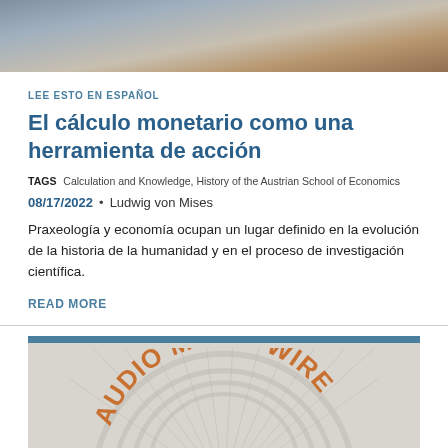[Figure (photo): Top portion of a photo showing a person at a desk with papers, cropped near the top of the page]
LEE ESTO EN ESPAÑOL
El cálculo monetario como una herramienta de acción
TAGS  Calculation and Knowledge, History of the Austrian School of Economics
08/17/2022 • Ludwig von Mises
Praxeología y economía ocupan un lugar definido en la evolución de la historia de la humanidad y en el proceso de investigación científica.
READ MORE
[Figure (logo): Mises Wire logo in orange/brown text on a circular radial background, with a blue bar at the top]